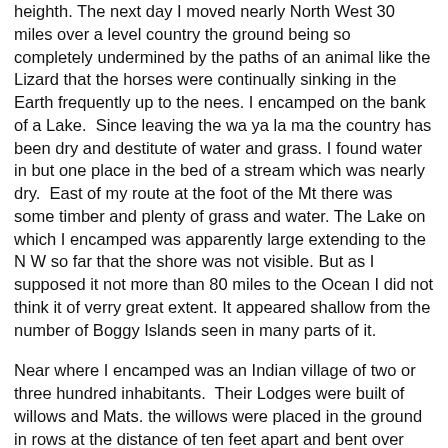heighth. The next day I moved nearly North West 30 miles over a level country the ground being so completely undermined by the paths of an animal like the Lizard that the horses were continually sinking in the Earth frequently up to the nees. I encamped on the bank of a Lake.  Since leaving the wa ya la ma the country has been dry and destitute of water and grass. I found water in but one place in the bed of a stream which was nearly dry.  East of my route at the foot of the Mt there was some timber and plenty of grass and water. The Lake on which I encamped was apparently large extending to the N W so far that the shore was not visible. But as I supposed it not more than 80 miles to the Ocean I did not think it of verry great extent. It appeared shallow from the number of Boggy Islands seen in many parts of it.
Near where I encamped was an Indian village of two or three hundred inhabitants.  Their Lodges were built of willows and Mats. the willows were placed in the ground in rows at the distance of ten feet apart and bent over and joined together at the top and then covered with the mats forming a Lodge in exterior appearance like a line of barrocks and about 100 yards in length with a